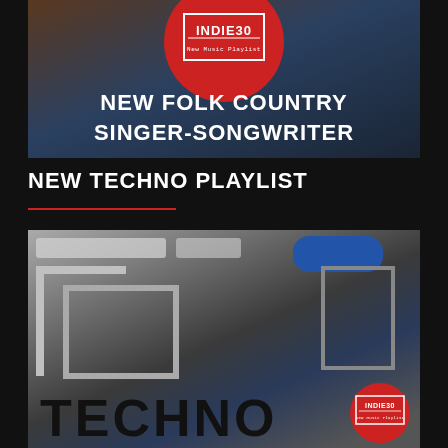[Figure (illustration): Indie30 New Music Playlist cover art for New Folk Country Singer-Songwriter playlist, featuring a red circle logo on a dark blue-brown background with bold white text]
NEW TECHNO PLAYLIST
[Figure (illustration): Techno playlist cover art with geometric metallic shapes, blue accent, and TECHNO text with Indie30 logo badge in red circle]